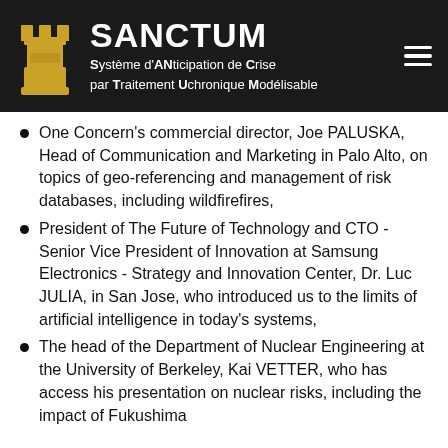SANCTUM — Système d'ANticipation de Crise par Traitement Uchronique Modélisable
One Concern's commercial director, Joe PALUSKA, Head of Communication and Marketing in Palo Alto, on topics of geo-referencing and management of risk databases, including wildfirefires,
President of The Future of Technology and CTO - Senior Vice President of Innovation at Samsung Electronics - Strategy and Innovation Center, Dr. Luc JULIA, in San Jose, who introduced us to the limits of artificial intelligence in today's systems,
The head of the Department of Nuclear Engineering at the University of Berkeley, Kai VETTER, who has access his presentation on nuclear risks, including the impact of Fukushima